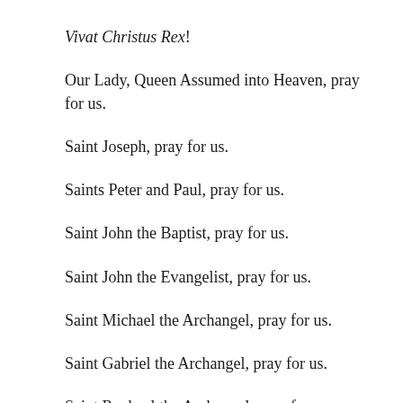Vivat Christus Rex!
Our Lady, Queen Assumed into Heaven, pray for us.
Saint Joseph, pray for us.
Saints Peter and Paul, pray for us.
Saint John the Baptist, pray for us.
Saint John the Evangelist, pray for us.
Saint Michael the Archangel, pray for us.
Saint Gabriel the Archangel, pray for us.
Saint Raphael the Archangel, pray for us.